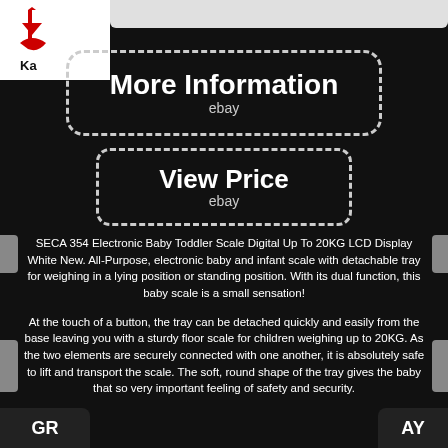[Figure (logo): Red and white logo with stylized figure and text 'Ka' at top-left corner]
[Figure (other): Dashed-border button: 'More Information / ebay']
[Figure (other): Dashed-border button: 'View Price / ebay']
SECA 354 Electronic Baby Toddler Scale Digital Up To 20KG LCD Display White New. All-Purpose, electronic baby and infant scale with detachable tray for weighing in a lying position or standing position. With its dual function, this baby scale is a small sensation!
At the touch of a button, the tray can be detached quickly and easily from the base leaving you with a sturdy floor scale for children weighing up to 20KG. As the two elements are securely connected with one another, it is absolutely safe to lift and transport the scale. The soft, round shape of the tray gives the baby that so very important feeling of safety and security.
Ana Wiz is an established medical supply and distribution business based in Surrey. Areas of expertise include maternity and infant healthcare products for home and clinical use. We are the UK distributors for a number of leading manufacturers in these fields. We have a very wide customer base including NHS trusts, GP Surgeries, Universities, Medical Retailers as well as mothers to be